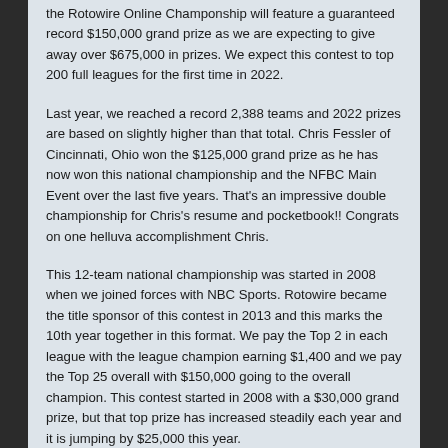the Rotowire Online Champonship will feature a guaranteed record $150,000 grand prize as we are expecting to give away over $675,000 in prizes. We expect this contest to top 200 full leagues for the first time in 2022.
Last year, we reached a record 2,388 teams and 2022 prizes are based on slightly higher than that total. Chris Fessler of Cincinnati, Ohio won the $125,000 grand prize as he has now won this national championship and the NFBC Main Event over the last five years. That's an impressive double championship for Chris's resume and pocketbook!! Congrats on one helluva accomplishment Chris.
This 12-team national championship was started in 2008 when we joined forces with NBC Sports. Rotowire became the title sponsor of this contest in 2013 and this marks the 10th year together in this format. We pay the Top 2 in each league with the league champion earning $1,400 and we pay the Top 25 overall with $150,000 going to the overall champion. This contest started in 2008 with a $30,000 grand prize, but that top prize has increased steadily each year and it is jumping by $25,000 this year.
We will again offer online drafts at $350, $750 and $1500. We have limited offerings for the top 2 price points online, but we